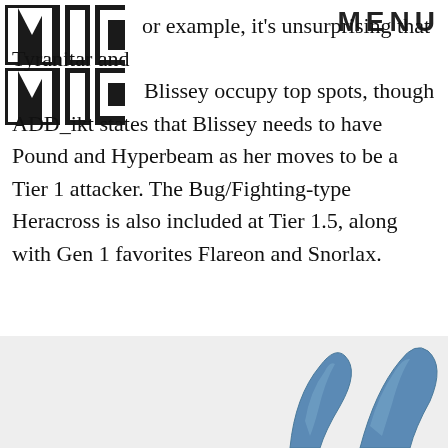MIC MENU
For example, it's unsurprising that Tyranitar and Blissey occupy top spots, though ADD_ikt states that Blissey needs to have Pound and Hyperbeam as her moves to be a Tier 1 attacker. The Bug/Fighting-type Heracross is also included at Tier 1.5, along with Gen 1 favorites Flareon and Snorlax.
ADVERTISEMENT
[Figure (illustration): Partial view of a blue Pokemon character (Heracross) with blue horn/antennae tips visible against a light gray background]